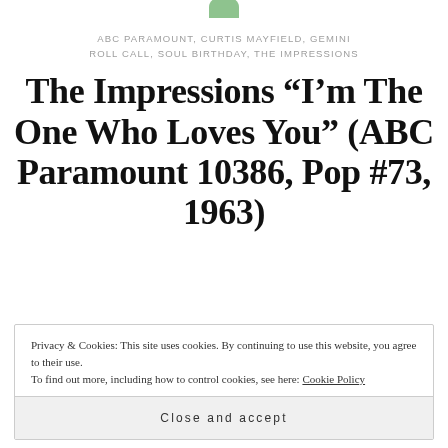ABC PARAMOUNT, CURTIS MAYFIELD, GEMINI ROLL CALL, SOUL BIRTHDAY, THE IMPRESSIONS
The Impressions “I’m The One Who Loves You” (ABC Paramount 10386, Pop #73, 1963)
Privacy & Cookies: This site uses cookies. By continuing to use this website, you agree to their use.
To find out more, including how to control cookies, see here: Cookie Policy
Close and accept